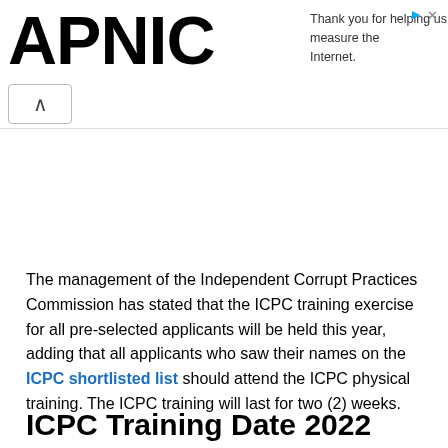APNIC — Thank you for helping us measure the Internet.
The management of the Independent Corrupt Practices Commission has stated that the ICPC training exercise for all pre-selected applicants will be held this year, adding that all applicants who saw their names on the ICPC shortlisted list should attend the ICPC physical training. The ICPC training will last for two (2) weeks.
ICPC Training Date 2022